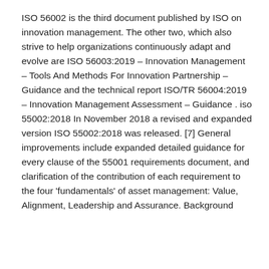ISO 56002 is the third document published by ISO on innovation management. The other two, which also strive to help organizations continuously adapt and evolve are ISO 56003:2019 – Innovation Management – Tools And Methods For Innovation Partnership – Guidance and the technical report ISO/TR 56004:2019 – Innovation Management Assessment – Guidance . iso 55002:2018 In November 2018 a revised and expanded version ISO 55002:2018 was released. [7] General improvements include expanded detailed guidance for every clause of the 55001 requirements document, and clarification of the contribution of each requirement to the four 'fundamentals' of asset management: Value, Alignment, Leadership and Assurance. Background